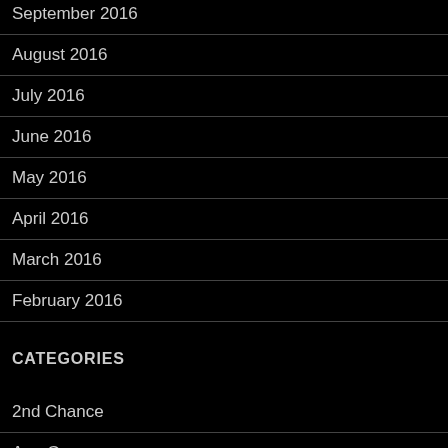September 2016
August 2016
July 2016
June 2016
May 2016
April 2016
March 2016
February 2016
CATEGORIES
2nd Chance
Age Gap